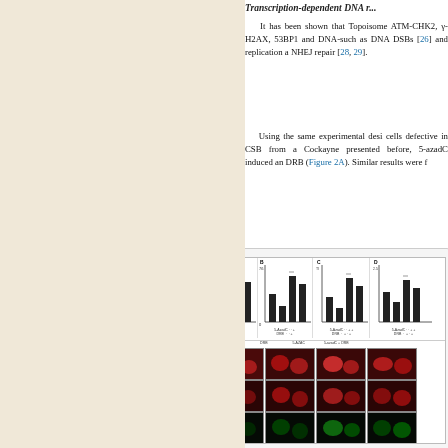Transcription-dependent DNA r...
It has been shown that Topoisome ATM-CHK2, γ-H2AX, 53BP1 and DNA- such as DNA DSBs [26] and replication a NHEJ repair [28, 29].
Using the same experimental desi cells defective in CSB from a Cockayne presented before, 5-azadC induced an DRB (Figure 2A). Similar results were f
[Figure (photo): Fluorescence microscopy figure with bar graphs (panels A, B, C, D) showing quantification of foci, and microscopy image panels (E, F, G) showing γ-H2AX, 53BP1, and other markers in control, DRB, 5-azadC, and 5-azadC+DRB treated cells.]